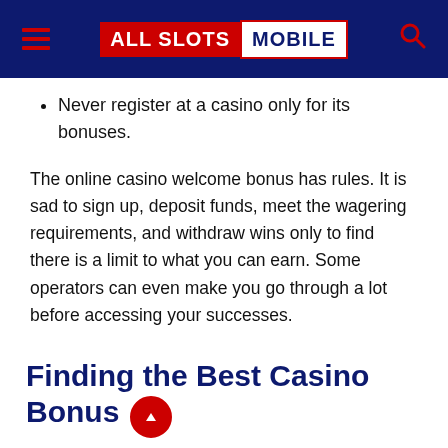ALL SLOTS MOBILE
Never register at a casino only for its bonuses.
The online casino welcome bonus has rules. It is sad to sign up, deposit funds, meet the wagering requirements, and withdraw wins only to find there is a limit to what you can earn. Some operators can even make you go through a lot before accessing your successes.
So, even if bonuses are attractive, finding a reliable casino should be the priority. Unfortunately, most websites with lucrative rewards do not offer what they advertise.
Finding the Best Casino Bonus